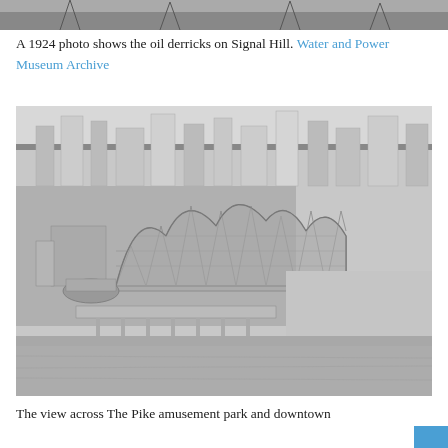[Figure (photo): Top portion of a black and white aerial photo showing oil derricks on Signal Hill, 1924]
A 1924 photo shows the oil derricks on Signal Hill. Water and Power Museum Archive
[Figure (photo): Black and white aerial photograph showing The Pike amusement park with a large wooden roller coaster and a pier extending into the water, with downtown Long Beach buildings visible in the background]
The view across The Pike amusement park and downtown